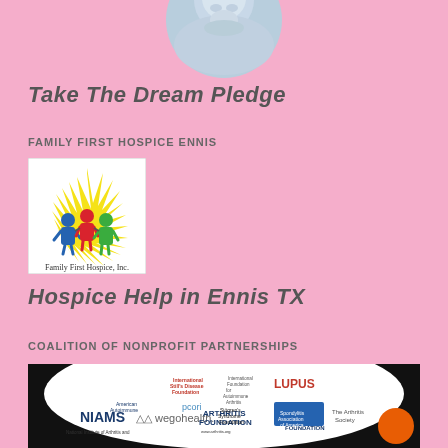[Figure (photo): Close-up photo of a baby/infant, cropped in a circle, bluish tone]
Take The Dream Pledge
Family First Hospice Ennis
[Figure (logo): Family First Hospice, Inc. logo with colorful figures holding hands under a sun burst]
Hospice Help in Ennis TX
Coalition of Nonprofit Partnerships
[Figure (logo): Coalition of Nonprofit Partnerships banner with multiple organization logos including NIAMS, wego health, Arthritis Foundation, LUPUS, PCORI, The Arthritis Society, Spondylitis Association, Sjogren's Syndrome Foundation, International Still's Disease Foundation, American Autoimmune, National Psoriasis Foundation]